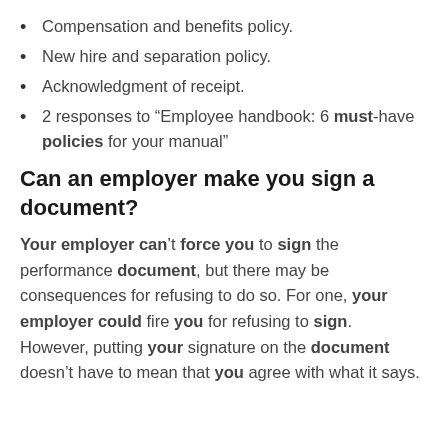Compensation and benefits policy.
New hire and separation policy.
Acknowledgment of receipt.
2 responses to “Employee handbook: 6 must-have policies for your manual”
Can an employer make you sign a document?
Your employer can’t force you to sign the performance document, but there may be consequences for refusing to do so. For one, your employer could fire you for refusing to sign. However, putting your signature on the document doesn’t have to mean that you agree with what it says.